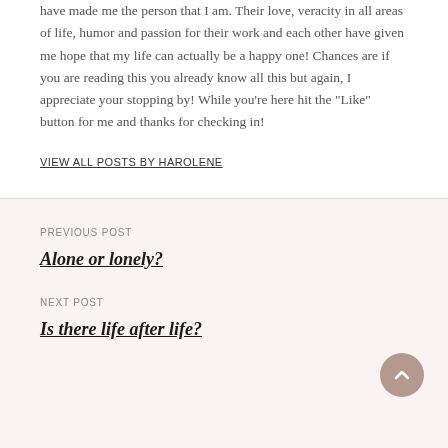have made me the person that I am. Their love, veracity in all areas of life, humor and passion for their work and each other have given me hope that my life can actually be a happy one! Chances are if you are reading this you already know all this but again, I appreciate your stopping by! While you're here hit the "Like" button for me and thanks for checking in!
VIEW ALL POSTS BY HAROLENE
PREVIOUS POST
Alone or lonely?
NEXT POST
Is there life after life?